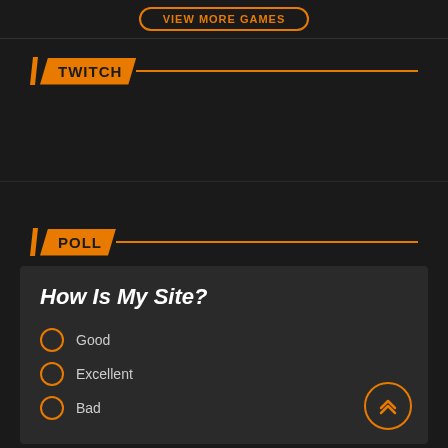VIEW MORE GAMES
TWITCH
POLL
How Is My Site?
Good
Excellent
Bad